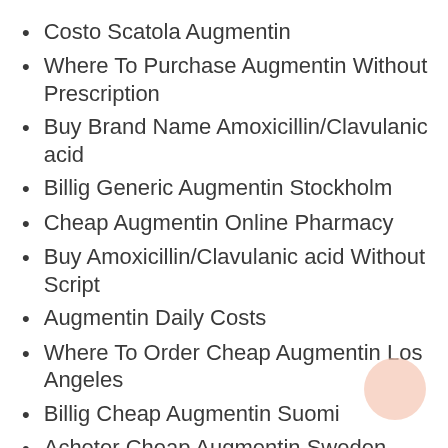Costo Scatola Augmentin
Where To Purchase Augmentin Without Prescription
Buy Brand Name Amoxicillin/Clavulanic acid
Billig Generic Augmentin Stockholm
Cheap Augmentin Online Pharmacy
Buy Amoxicillin/Clavulanic acid Without Script
Augmentin Daily Costs
Where To Order Cheap Augmentin Los Angeles
Billig Cheap Augmentin Suomi
Acheter Cheap Augmentin Sweden